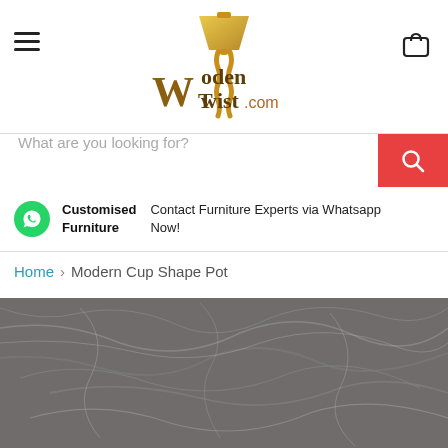[Figure (logo): WoodenTwist.com logo with a lamp and wooden screw design in gold/brown colors]
What are you looking for?
Customised Furniture — Contact Furniture Experts via Whatsapp Now!
Home > Modern Cup Shape Pot
[Figure (photo): Dark grey marble texture product image for Modern Cup Shape Pot]